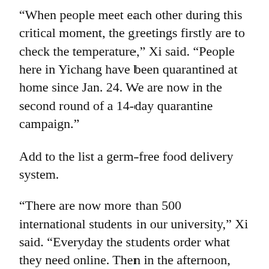“When people meet each other during this critical moment, the greetings firstly are to check the temperature,” Xi said. “People here in Yichang have been quarantined at home since Jan. 24. We are now in the second round of a 14-day quarantine campaign.”
Add to the list a germ-free food delivery system.
“There are now more than 500 international students in our university,” Xi said. “Everyday the students order what they need online. Then in the afternoon, people from the university canteen will send the food to the dorms.”
That’s food for thought for Chatham County with so many college students in the area.
Something else that connects our cultures, whether it be the pride of North Carolina or the grit of Hubei, and we are reminded by what Xi saw…